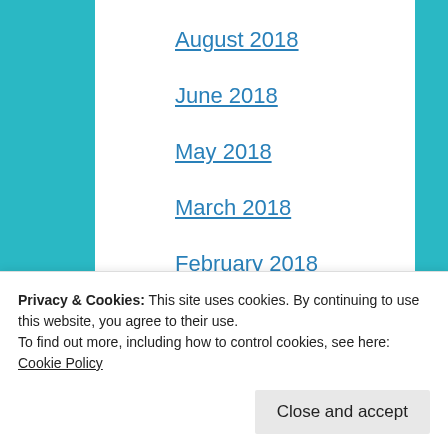August 2018
June 2018
May 2018
March 2018
February 2018
December 2017
November 2017
October 2017
August 2017
July 2017
May 2017
Privacy & Cookies: This site uses cookies. By continuing to use this website, you agree to their use.
To find out more, including how to control cookies, see here: Cookie Policy
Close and accept